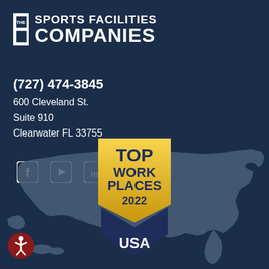[Figure (logo): The Sports Facilities Companies logo with bracket icon, text 'THE SPORTS FACILITIES COMPANIES']
(727) 474-3845
600 Cleveland St.
Suite 910
Clearwater FL 33755
[Figure (infographic): Social media icons: Facebook, YouTube, LinkedIn]
[Figure (infographic): USA map silhouette in grey with Top Work Places 2022 USA award badge overlay]
[Figure (infographic): Accessibility icon (person in circle) in dark red/maroon]